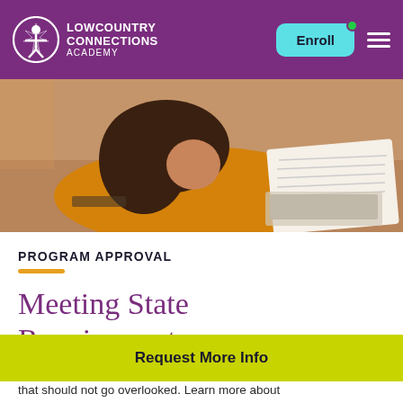Lowcountry Connections Academy — navigation header with Enroll button
[Figure (photo): Student in orange/yellow sweater lying on floor writing in notebook with laptop nearby]
PROGRAM APPROVAL
Meeting State Requirements
With any education-related decision, state
that should not go overlooked. Learn more about